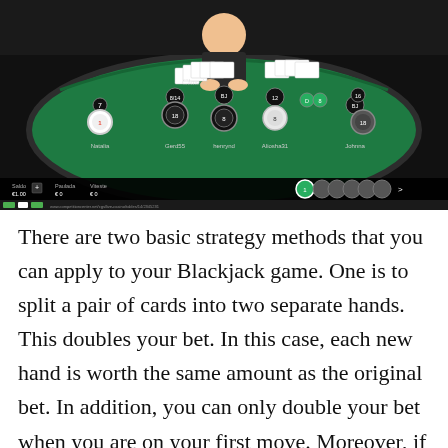[Figure (photo): Screenshot of a live online blackjack game interface showing a green felt table with a dealer and multiple player positions with cards and chips displayed. Game UI elements including balance, bet amounts, and chip selection are visible at the bottom.]
There are two basic strategy methods that you can apply to your Blackjack game. One is to split a pair of cards into two separate hands. This doubles your bet. In this case, each new hand is worth the same amount as the original bet. In addition, you can only double your bet when you are on your first move. Moreover, if you have two aces, you cannot play them as one hand. If you want to increase your